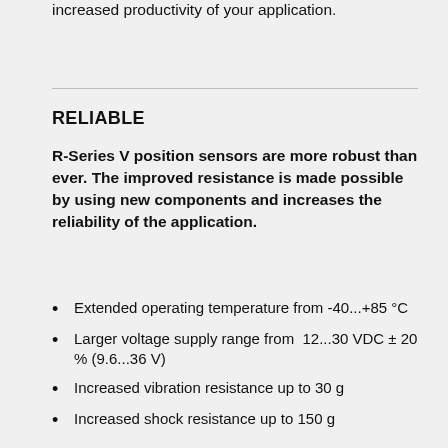increased productivity of your application.
RELIABLE
R-Series V position sensors are more robust than ever. The improved resistance is made possible by using new components and increases the reliability of the application.
Extended operating temperature from -40...+85 °C
Larger voltage supply range from  12...30 VDC ± 20 % (9.6...36 V)
Increased vibration resistance up to 30 g
Increased shock resistance up to 150 g